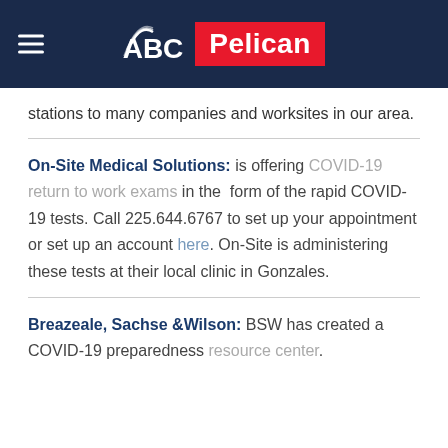ABC Pelican
stations to many companies and worksites in our area.
On-Site Medical Solutions: is offering COVID-19 return to work exams in the form of the rapid COVID-19 tests. Call 225.644.6767 to set up your appointment or set up an account here. On-Site is administering these tests at their local clinic in Gonzales.
Breazeale, Sachse &Wilson: BSW has created a COVID-19 preparedness resource center.